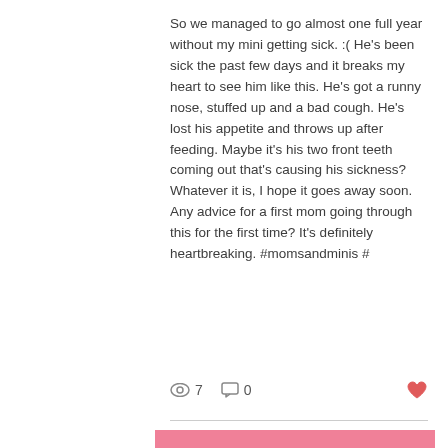So we managed to go almost one full year without my mini getting sick. :( He's been sick the past few days and it breaks my heart to see him like this. He's got a runny nose, stuffed up and a bad cough. He's lost his appetite and throws up after feeding. Maybe it's his two front teeth coming out that's causing his sickness? Whatever it is, I hope it goes away soon. Any advice for a first mom going through this for the first time? It's definitely heartbreaking. #momsandminis #
[Figure (illustration): Pink wooden plank background with white cursive text reading 'Hello, May.' with small white flowers at the bottom]